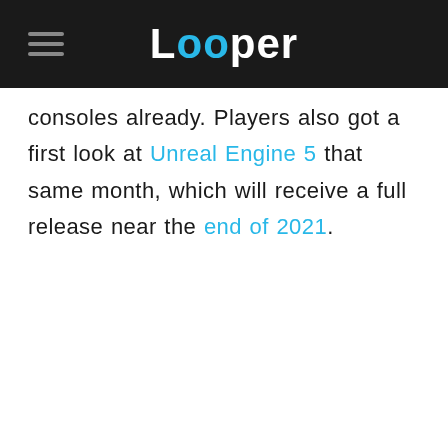Looper
consoles already. Players also got a first look at Unreal Engine 5 that same month, which will receive a full release near the end of 2021.